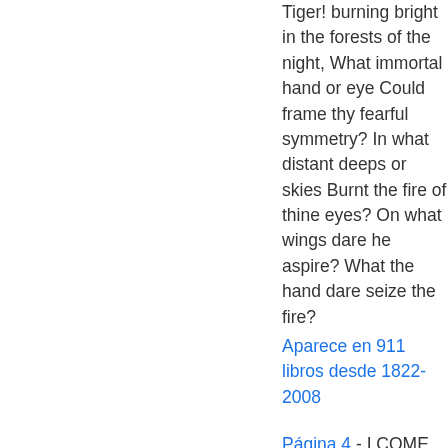Tiger! burning bright in the forests of the night, What immortal hand or eye Could frame thy fearful symmetry? In what distant deeps or skies Burnt the fire of thine eyes? On what wings dare he aspire? What the hand dare seize the fire?
Aparece en 911 libros desde 1822-2008
Página 4 - I COME from haunts of coot and hern, I make a sudden sally, And sparkle out among the fern, To bicker down a valley. By thirty hills I hurry down, Or slip between the ridges, By twenty thorps, a little town, And half a hundred